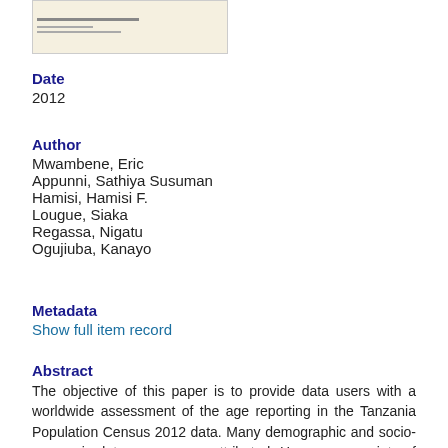[Figure (other): Thumbnail image of a document cover page with beige/tan background and small text lines]
Date
2012
Author
Mwambene, Eric
Appunni, Sathiya Susuman
Hamisi, Hamisi F.
Lougue, Siaka
Regassa, Nigatu
Ogujiuba, Kanayo
Metadata
Show full item record
Abstract
The objective of this paper is to provide data users with a worldwide assessment of the age reporting in the Tanzania Population Census 2012 data. Many demographic and socio-economic data are age-sex attributed. However, a variety of conditions exist to age-sex reported with age-sex to